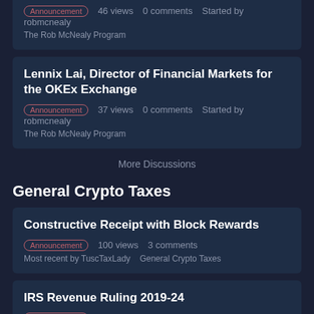Announcement  46 views  0 comments  Started by robmcnealy
The Rob McNealy Program
Lennix Lai, Director of Financial Markets for the OKEx Exchange
Announcement  37 views  0 comments  Started by robmcnealy
The Rob McNealy Program
More Discussions
General Crypto Taxes
Constructive Receipt with Block Rewards
Announcement  100 views  3 comments
Most recent by TuscTaxLady  General Crypto Taxes
IRS Revenue Ruling 2019-24
Announcement  45 views  0 comments  Started by TuscTaxLady